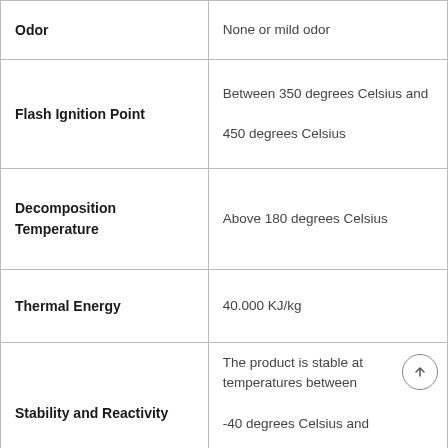| Property | Value |
| --- | --- |
| Odor | None or mild odor |
| Flash Ignition Point | Between 350 degrees Celsius and 450 degrees Celsius |
| Decomposition Temperature | Above 180 degrees Celsius |
| Thermal Energy | 40.000 KJ/kg |
| Stability and Reactivity | The product is stable at temperatures between -40 degrees Celsius and +120 degrees Celsius |
| Auto-Ignition |  |